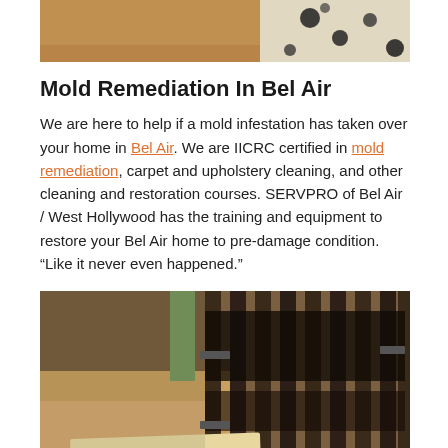[Figure (photo): Partial view of a spotted/mottled surface, likely a close-up of mold or animal hide, cropped at the top of the page.]
Mold Remediation In Bel Air
We are here to help if a mold infestation has taken over your home in Bel Air. We are IICRC certified in mold remediation, carpet and upholstery cleaning, and other cleaning and restoration courses. SERVPRO of Bel Air / West Hollywood has the training and equipment to restore your Bel Air home to pre-damage condition. “Like it never even happened.”
[Figure (photo): Photo of a mold-damaged wall with metal studs or bars covered in dark mold/dirt, with debris and damaged flooring at the bottom.]